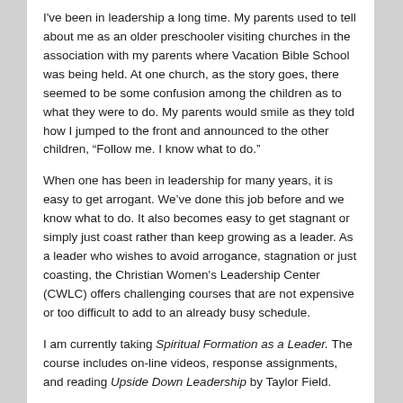I've been in leadership a long time. My parents used to tell about me as an older preschooler visiting churches in the association with my parents where Vacation Bible School was being held. At one church, as the story goes, there seemed to be some confusion among the children as to what they were to do. My parents would smile as they told how I jumped to the front and announced to the other children, “Follow me. I know what to do.”
When one has been in leadership for many years, it is easy to get arrogant. We’ve done this job before and we know what to do. It also becomes easy to get stagnant or simply just coast rather than keep growing as a leader. As a leader who wishes to avoid arrogance, stagnation or just coasting, the Christian Women's Leadership Center (CWLC) offers challenging courses that are not expensive or too difficult to add to an already busy schedule.
I am currently taking Spiritual Formation as a Leader. The course includes on-line videos, response assignments, and reading Upside Down Leadership by Taylor Field.